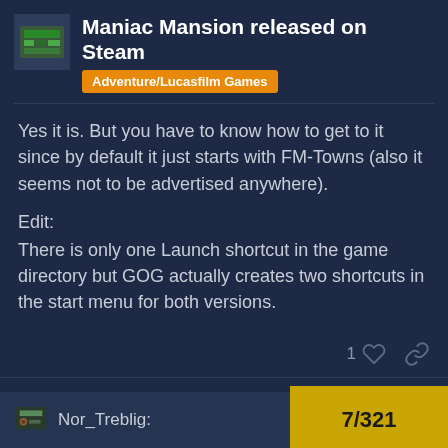Maniac Mansion released on Steam
Adventure/Lucasfilm Games
Yes it is. But you have to know how to get to it since by default it just starts with FM-Towns (also it seems not to be advertised anywhere).
Edit:
There is only one Launch shortcut in the game directory but GOG actually creates two shortcuts in the start menu for both versions.
milanfahrnholz
Dec '17
Nor_Treblig:
7 / 321